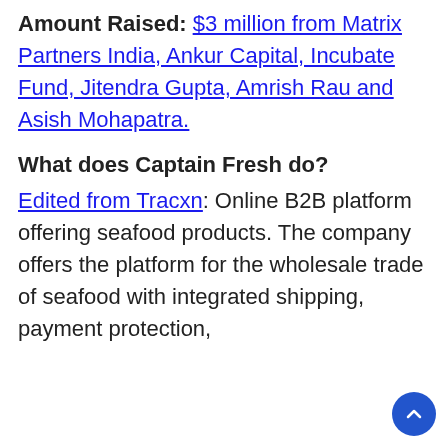Amount Raised: $3 million from Matrix Partners India, Ankur Capital, Incubate Fund, Jitendra Gupta, Amrish Rau and Asish Mohapatra.
What does Captain Fresh do?
Edited from Tracxn: Online B2B platform offering seafood products. The company offers the platform for the wholesale trade of seafood with integrated shipping, payment protection,